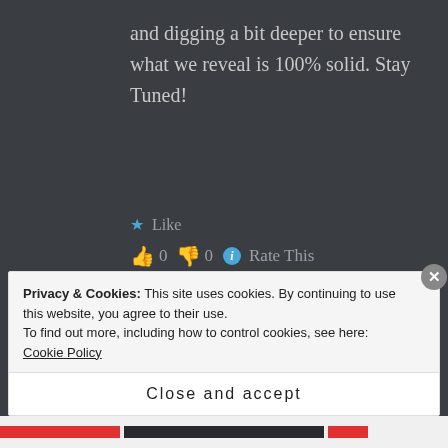and digging a bit deeper to ensure what we reveal is 100% solid. Stay Tuned!
★ Like
👍 0 👎 0 ℹ Rate This
JAMIE says:
January 26, 2018 at 10:23 AM
↩ Reply
A New Zealand filmmaker has teamed
Privacy & Cookies: This site uses cookies. By continuing to use this website, you agree to their use.
To find out more, including how to control cookies, see here: Cookie Policy
Close and accept